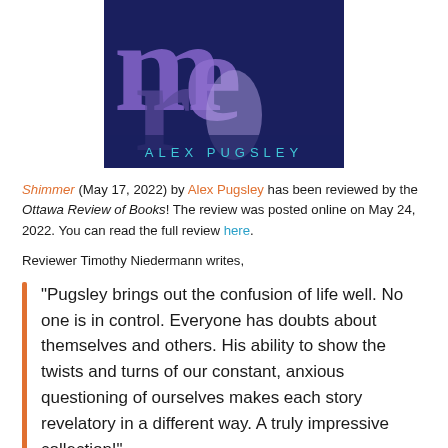[Figure (illustration): Book cover for 'Shimmer' by Alex Pugsley. Dark navy blue background with large overlapping purple letterforms 'm', 'e', 'r' in varying shades of purple/lavender. Author name 'ALEX PUGSLEY' displayed in teal/cyan spaced letters near the bottom of the cover.]
Shimmer (May 17, 2022) by Alex Pugsley has been reviewed by the Ottawa Review of Books! The review was posted online on May 24, 2022. You can read the full review here.
Reviewer Timothy Niedermann writes,
“Pugsley brings out the confusion of life well. No one is in control. Everyone has doubts about themselves and others. His ability to show the twists and turns of our constant, anxious questioning of ourselves makes each story revelatory in a different way. A truly impressive collection!”